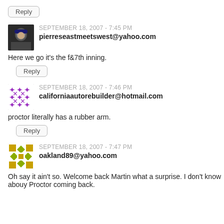Reply
SEPTEMBER 18, 2007 - 7:45 PM
pierreseastmeetswest@yahoo.com
Here we go it's the f&7th inning.
Reply
SEPTEMBER 18, 2007 - 7:46 PM
californiaautorebuilder@hotmail.com
proctor literally has a rubber arm.
Reply
SEPTEMBER 18, 2007 - 7:47 PM
oakland89@yahoo.com
Oh say it ain't so. Welcome back Martin what a surprise. I don't know abouy Proctor coming back.